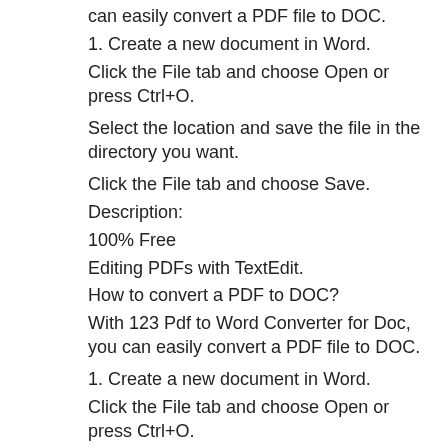can easily convert a PDF file to DOC.
1. Create a new document in Word.
Click the File tab and choose Open or press Ctrl+O.
Select the location and save the file in the directory you want.
Click the File tab and choose Save.
Description:
100% Free
Editing PDFs with TextEdit.
How to convert a PDF to DOC?
With 123 Pdf to Word Converter for Doc, you can easily convert a PDF file to DOC.
1. Create a new document in Word.
Click the File tab and choose Open or press Ctrl+O.
Select the location and save the file in the directory you want.
Click the File tab and choose Save.
Description:
100% Free